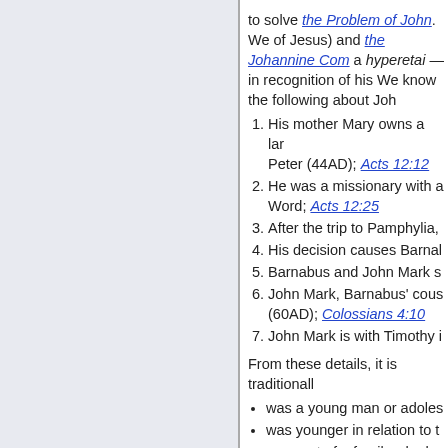to solve the Problem of John. We of Jesus) and the Johannine Com a hyperetai — in recognition of his We know the following about John
1. His mother Mary owns a large house used as a meeting-place for the Disciples, e.g. to shelter Peter (44AD); Acts 12:12
2. He was a missionary with a role in spreading the Word; Acts 12:25
3. After the trip to Pamphylia,
4. His decision causes Barnab
5. Barnabus and John Mark s
6. John Mark, Barnabus' cousin (60AD); Colossians 4:10
7. John Mark is with Timothy i
From these details, it is traditionall
was a young man or adoles
was younger in relation to t
was part of a family who ha
his family having wealth, he the Council of Jerusalem.
Of the four inferences drawn abov conclusive, assumptions. So, does John Mark fit the profile eye-witness author of the Fourth G
Present with Jesus at the L